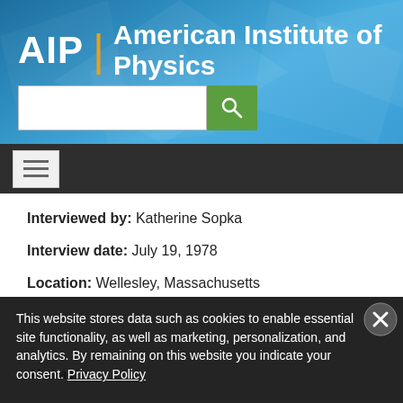[Figure (logo): AIP | American Institute of Physics logo with blue gradient background and search bar]
[Figure (screenshot): Navigation bar with hamburger menu icon on dark background]
Interviewed by: Katherine Sopka
Interview date: July 19, 1978
Location: Wellesley, Massachusetts
Abstract
This website stores data such as cookies to enable essential site functionality, as well as marketing, personalization, and analytics. By remaining on this website you indicate your consent. Privacy Policy